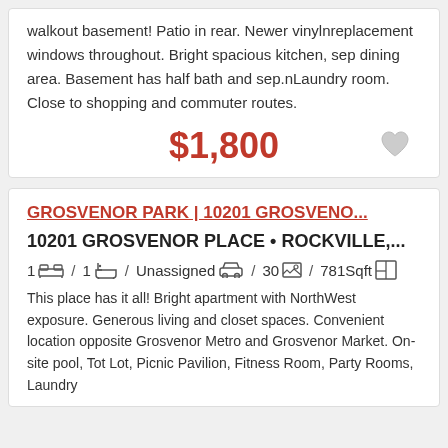walkout basement! Patio in rear. Newer vinylnreplacement windows throughout. Bright spacious kitchen, sep dining area. Basement has half bath and sep.nLaundry room. Close to shopping and commuter routes.
$1,800
GROSVENOR PARK | 10201 GROSVENO...
10201 GROSVENOR PLACE • ROCKVILLE,...
1 / 1 / Unassigned / 30 / 781Sqft
This place has it all! Bright apartment with NorthWest exposure. Generous living and closet spaces. Convenient location opposite Grosvenor Metro and Grosvenor Market. On-site pool, Tot Lot, Picnic Pavilion, Fitness Room, Party Rooms, Laundry